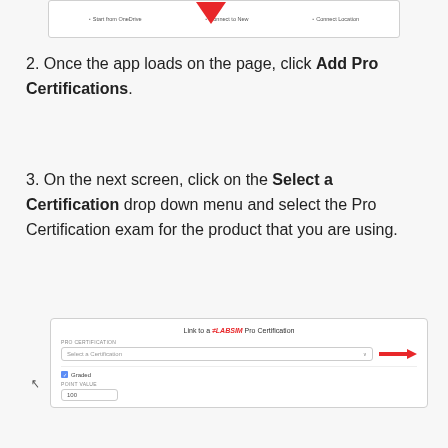[Figure (screenshot): Top portion of a browser UI showing navigation tabs with a red arrow pointing to one of them]
2. Once the app loads on the page, click Add Pro Certifications.
3. On the next screen, click on the Select a Certification drop down menu and select the Pro Certification exam for the product that you are using.
[Figure (screenshot): Screenshot of 'Link to a LABSIM Pro Certification' dialog with PRO CERTIFICATION dropdown (Select a Certification), a red arrow pointing to it, a Graded checkbox, and POINT VALUE field showing 100]